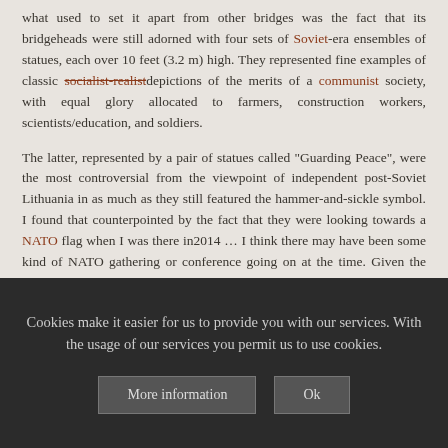what used to set it apart from other bridges was the fact that its bridgeheads were still adorned with four sets of Soviet-era ensembles of statues, each over 10 feet (3.2 m) high. They represented fine examples of classic socialist-realist depictions of the merits of a communist society, with equal glory allocated to farmers, construction workers, scientists/education, and soldiers.
The latter, represented by a pair of statues called "Guarding Peace", were the most controversial from the viewpoint of independent post-Soviet Lithuania in as much as they still featured the hammer-and-sickle symbol. I found that counterpointed by the fact that they were looking towards a NATO flag when I was there in 2014 ... I think there may have been some kind of NATO gathering or conference going on at the time. Given the recent developments in Russia and
Cookies make it easier for us to provide you with our services. With the usage of our services you permit us to use cookies.